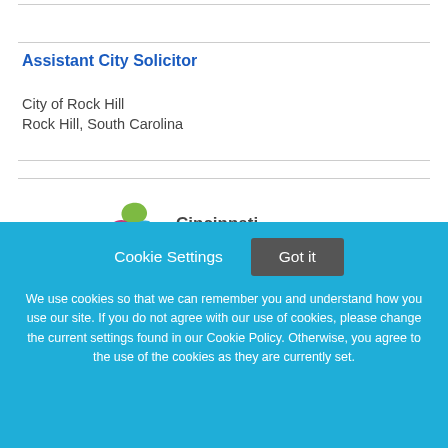Assistant City Solicitor
City of Rock Hill
Rock Hill, South Carolina
[Figure (logo): Cincinnati Children's Hospital logo with colorful swirl icon and text]
Cookie Settings   Got it
We use cookies so that we can remember you and understand how you use our site. If you do not agree with our use of cookies, please change the current settings found in our Cookie Policy. Otherwise, you agree to the use of the cookies as they are currently set.